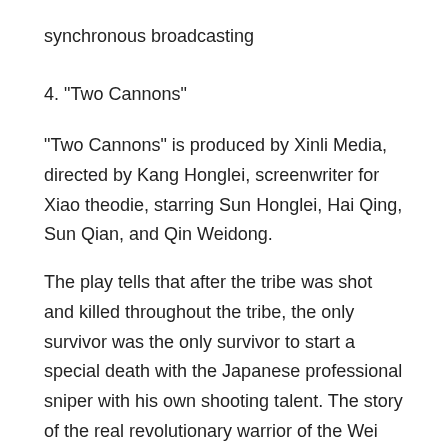synchronous broadcasting
4. "Two Cannons"
"Two Cannons" is produced by Xinli Media, directed by Kang Honglei, screenwriter for Xiao theodie, starring Sun Honglei, Hai Qing, Sun Qian, and Qin Weidong.
The play tells that after the tribe was shot and killed throughout the tribe, the only survivor was the only survivor to start a special death with the Japanese professional sniper with his own shooting talent. The story of the real revolutionary warrior of the Wei Guo.